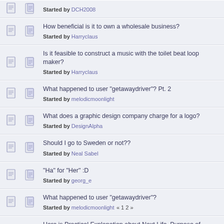Started by DCH2008
How beneficial is it to own a wholesale business? Started by Harryclaus
Is it feasible to construct a music with the toilet beat loop maker? Started by Harryclaus
What happened to user "getawaydriver"? Pt. 2 Started by melodicmoonlight
What does a graphic design company charge for a logo? Started by DesignAlpha
Should I go to Sweden or not?? Started by Neal Sabel
"Ha" for "Her" :D Started by georg_e
What happened to user "getawaydriver"? Started by melodicmoonlight « 1 2 »
Here is Practical Explanation about Next Life, Purpose of Human L Started by vesae
Effective Marketing Tips for Artists